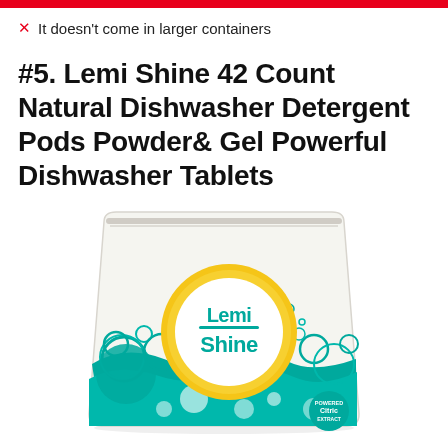✗ It doesn't come in larger containers
#5. Lemi Shine 42 Count Natural Dishwasher Detergent Pods Powder& Gel Powerful Dishwasher Tablets
[Figure (photo): White stand-up pouch bag with Lemi Shine logo — a yellow citrus circle with green teal text reading 'Lemi Shine', surrounded by teal bubbles/circles of various sizes. A small badge at bottom right reads 'Powered Citric'.]